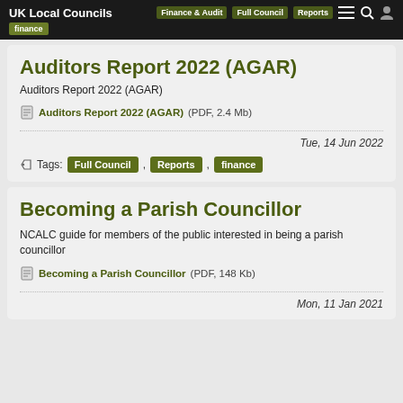UK Local Councils — Finance & Audit | Full Council | Reports | finance
Auditors Report 2022 (AGAR)
Auditors Report 2022 (AGAR)
Auditors Report 2022 (AGAR) (PDF, 2.4 Mb)
Tue, 14 Jun 2022
Tags: Full Council , Reports , finance
Becoming a Parish Councillor
NCALC guide for members of the public interested in being a parish councillor
Becoming a Parish Councillor (PDF, 148 Kb)
Mon, 11 Jan 2021